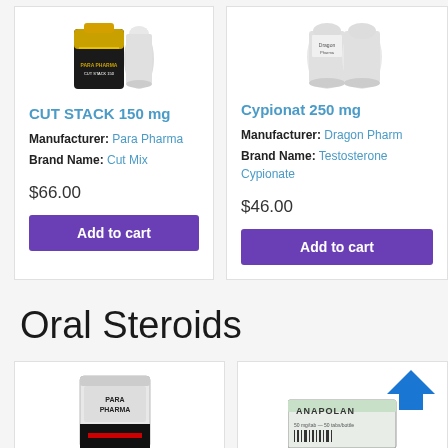[Figure (photo): CUT STACK 150 product vial, Para Pharma brand, black and yellow label]
CUT STACK 150 mg
Manufacturer: Para Pharma
Brand Name: Cut Mix
$66.00
Add to cart
[Figure (photo): Cypionat 250 product vials, Dragon Pharma brand]
Cypionat 250 mg
Manufacturer: Dragon Pharma
Brand Name: Testosterone Cypionate
$46.00
Add to cart
Oral Steroids
[Figure (photo): Para Pharma oral steroid product bag, black and white packaging]
[Figure (photo): Anapolan product box, green and white packaging with blue arrow logo]